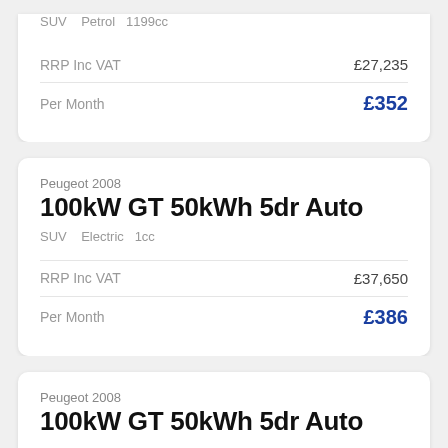SUV   Petrol  1199cc
| RRP Inc VAT | £27,235 |
| Per Month | £352 |
Peugeot 2008
100kW GT 50kWh 5dr Auto
SUV   Electric  1cc
| RRP Inc VAT | £37,650 |
| Per Month | £386 |
Peugeot 2008
100kW GT 50kWh 5dr Auto